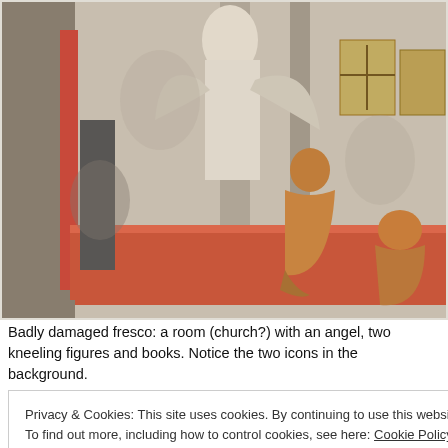[Figure (photo): A badly damaged medieval fresco showing a room (possibly a church) with an angel, two kneeling figures, and books. Two icons are visible in the background. Colors are predominantly red-orange, white, and grey.]
Badly damaged fresco: a room (church?) with an angel, two kneeling figures and books. Notice the two icons in the background.
Privacy & Cookies: This site uses cookies. By continuing to use this website, you agree to their use.
To find out more, including how to control cookies, see here: Cookie Policy
Κλείσιμο και αποδοχή